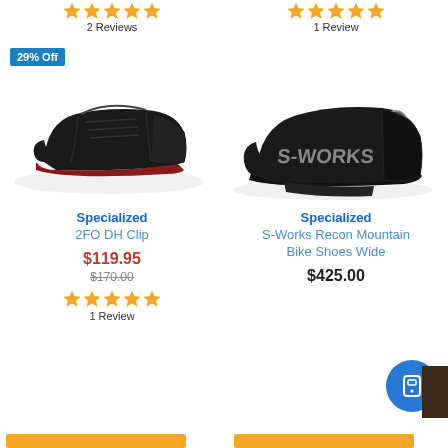[Figure (other): 5 orange star rating icons for left product]
2 Reviews
[Figure (other): 5 orange star rating icons for right product]
1 Review
29% Off
[Figure (photo): Specialized 2FO DH Clip cycling shoe in black with red sole, side view]
[Figure (photo): Specialized S-Works Recon Mountain Bike Shoes Wide in black with dual BOA dials, side view]
Specialized
2FO DH Clip
$119.95
$170.00
[Figure (other): 5 orange star rating icons for 2FO DH Clip]
1 Review
Specialized
S-Works Recon Mountain Bike Shoes Wide
$425.00